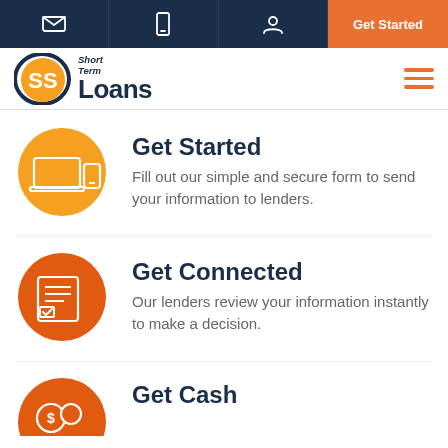Navigation bar with email, phone, user icons and Get Started button
[Figure (logo): Short Term Loans logo with circular SS emblem in orange/navy and hamburger menu icon]
Get Started
Fill out our simple and secure form to send your information to lenders.
Get Connected
Our lenders review your information instantly to make a decision.
Get Cash